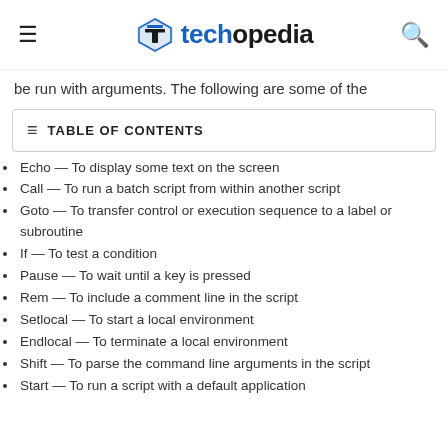techopedia
be run with arguments. The following are some of the
TABLE OF CONTENTS
Echo — To display some text on the screen
Call — To run a batch script from within another script
Goto — To transfer control or execution sequence to a label or subroutine
If — To test a condition
Pause — To wait until a key is pressed
Rem — To include a comment line in the script
Setlocal — To start a local environment
Endlocal — To terminate a local environment
Shift — To parse the command line arguments in the script
Start — To run a script with a default application